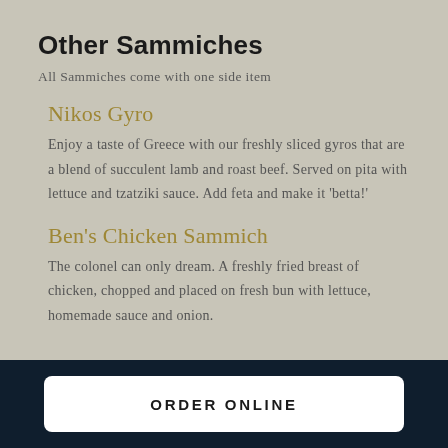Other Sammiches
All Sammiches come with one side item
Nikos Gyro
Enjoy a taste of Greece with our freshly sliced gyros that are a blend of succulent lamb and roast beef. Served on pita with lettuce and tzatziki sauce. Add feta and make it 'betta!'
Ben's Chicken Sammich
The colonel can only dream. A freshly fried breast of chicken, chopped and placed on fresh bun with lettuce, homemade sauce and onion.
ORDER ONLINE